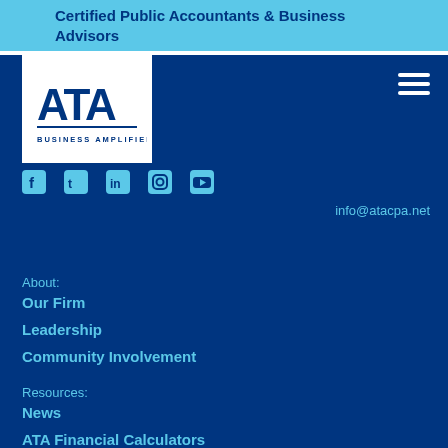Certified Public Accountants & Business Advisors
[Figure (logo): ATA Business Amplified logo — white box with dark blue ATA lettering and 'BUSINESS AMPLIFIED' text below]
[Figure (other): Hamburger menu icon (three horizontal white lines)]
[Figure (other): Social media icons: Facebook, Twitter, LinkedIn, Instagram, YouTube — in light blue]
info@atacpa.net
About:
Our Firm
Leadership
Community Involvement
Resources:
News
ATA Financial Calculators